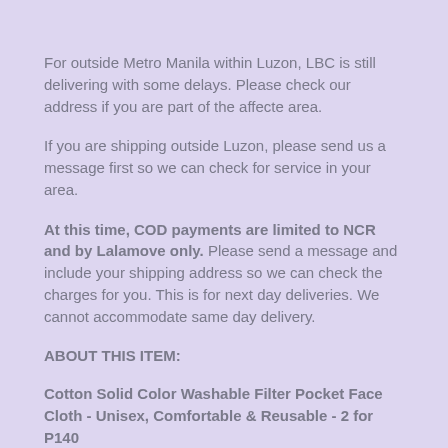For outside Metro Manila within Luzon, LBC is still delivering with some delays. Please check our address if you are part of the affecte area.
If you are shipping outside Luzon, please send us a message first so we can check for service in your area.
At this time, COD payments are limited to NCR and by Lalamove only. Please send a message and include your shipping address so we can check the charges for you. This is for next day deliveries. We cannot accommodate same day delivery.
ABOUT THIS ITEM:
Cotton Solid Color Washable Filter Pocket Face Cloth - Unisex, Comfortable & Reusable - 2 for P140